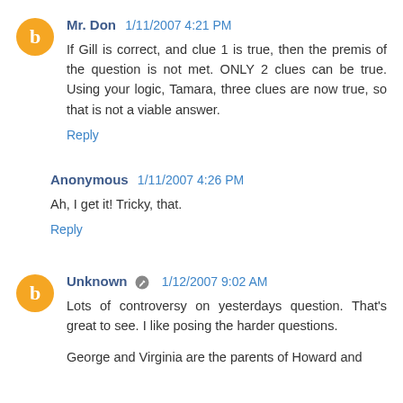Mr. Don 1/11/2007 4:21 PM
If Gill is correct, and clue 1 is true, then the premis of the question is not met. ONLY 2 clues can be true. Using your logic, Tamara, three clues are now true, so that is not a viable answer.
Reply
Anonymous 1/11/2007 4:26 PM
Ah, I get it! Tricky, that.
Reply
Unknown 1/12/2007 9:02 AM
Lots of controversy on yesterdays question. That's great to see. I like posing the harder questions.
George and Virginia are the parents of Howard and